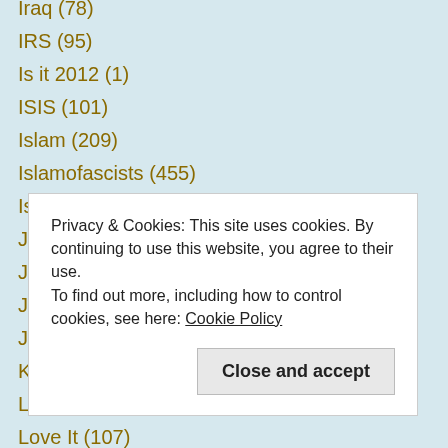Iraq (78)
IRS (95)
Is it 2012 (1)
ISIS (101)
Islam (209)
Islamofascists (455)
Israel (72)
Jacob Turk (2)
Jeanine Pirro (64)
Just Sayin' (107)
Just so you know… (10)
Krauthammer (33)
Left Wing hypocrisy (24)
Love It (107)
Privacy & Cookies: This site uses cookies. By continuing to use this website, you agree to their use. To find out more, including how to control cookies, see here: Cookie Policy
Close and accept